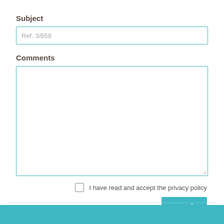Subject
Ref. 3/658
Comments
I have read and accept the privacy policy
send